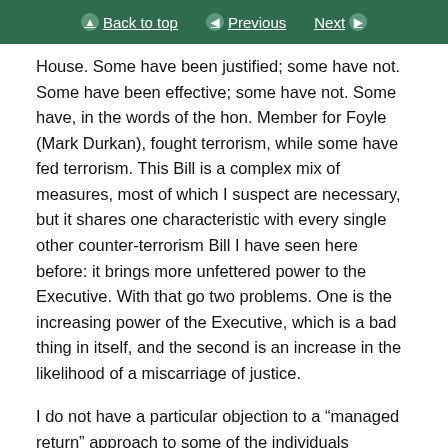Back to top | Previous | Next
House. Some have been justified; some have not. Some have been effective; some have not. Some have, in the words of the hon. Member for Foyle (Mark Durkan), fought terrorism, while some have fed terrorism. This Bill is a complex mix of measures, most of which I suspect are necessary, but it shares one characteristic with every single other counter-terrorism Bill I have seen here before: it brings more unfettered power to the Executive. With that go two problems. One is the increasing power of the Executive, which is a bad thing in itself, and the second is an increase in the likelihood of a miscarriage of justice.
I do not have a particular objection to a “managed return” approach to some of the individuals